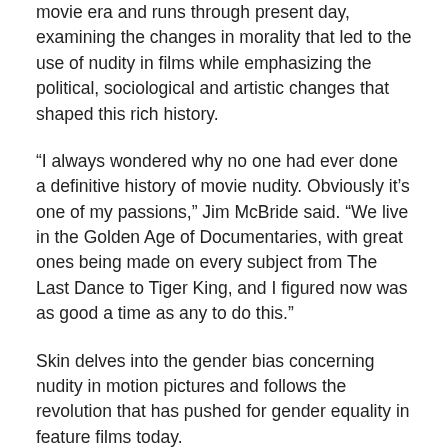movie era and runs through present day, examining the changes in morality that led to the use of nudity in films while emphasizing the political, sociological and artistic changes that shaped this rich history.
“I always wondered why no one had ever done a definitive history of movie nudity. Obviously it’s one of my passions,” Jim McBride said. “We live in the Golden Age of Documentaries, with great ones being made on every subject from The Last Dance to Tiger King, and I figured now was as good a time as any to do this.”
Skin delves into the gender bias concerning nudity in motion pictures and follows the revolution that has pushed for gender equality in feature films today.
“Also there’s a deep discussion of pre-code Hollywood and its amoral roots, the censorship that ‘cleaned up’ Hollywood and how the MPAA was formed,” said Paul Fishbein, who produced and co-executive produced with McBride. “That leads into a discussion of how nudity changed cinematic culture through the decades and it